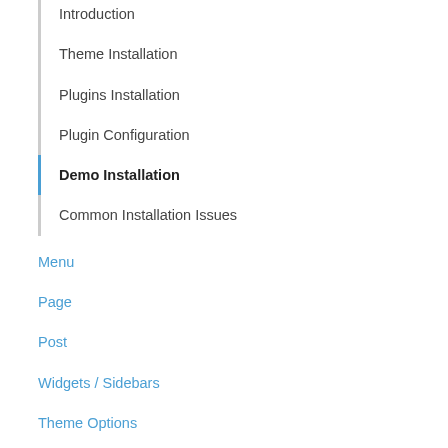Introduction
Theme Installation
Plugins Installation
Plugin Configuration
Demo Installation
Common Installation Issues
Menu
Page
Post
Widgets / Sidebars
Theme Options
Contact form
Tips / Guides / Troubleshoots